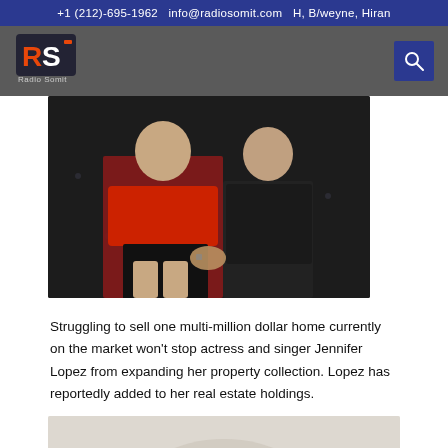+1 (212)-695-1962  info@radiosomit.com  H, B/weyne, Hiran
[Figure (logo): Radio Somit logo - RS letters in orange/blue with text 'Radio Somit' below]
[Figure (photo): Two people dancing or posing, one in red outfit, dark background]
Struggling to sell one multi-million dollar home currently on the market won't stop actress and singer Jennifer Lopez from expanding her property collection. Lopez has reportedly added to her real estate holdings.
[Figure (photo): Partial bottom image, light background, appears to show a property or figure]